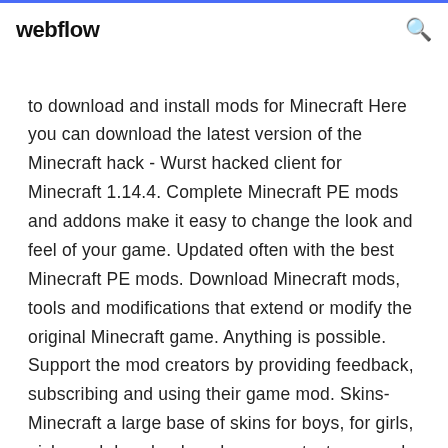webflow
to download and install mods for Minecraft Here you can download the latest version of the Minecraft hack - Wurst hacked client for Minecraft 1.14.4. Complete Minecraft PE mods and addons make it easy to change the look and feel of your game. Updated often with the best Minecraft PE mods. Download Minecraft mods, tools and modifications that extend or modify the original Minecraft game. Anything is possible. Support the mod creators by providing feedback, subscribing and using their game mod. Skins-Minecraft a large base of skins for boys, for girls, nicks and download mods , maps, textures, and resource packs for Minecraft 1.14.4.9.1.19.9.111.91719